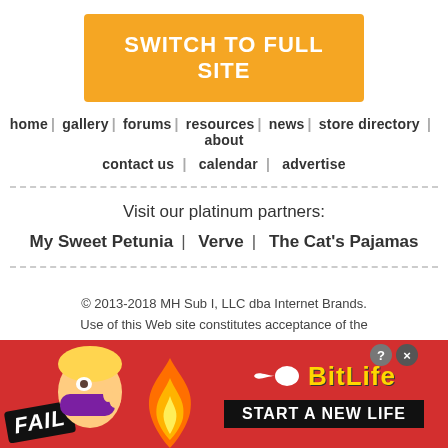SWITCH TO FULL SITE
home | gallery | forums | resources | news | store directory | about
contact us | calendar | advertise
Visit our platinum partners:
My Sweet Petunia | Verve | The Cat's Pajamas
© 2013-2018 MH Sub I, LLC dba Internet Brands.
Use of this Web site constitutes acceptance of the
[Figure (screenshot): BitLife advertisement banner with FAIL badge, cartoon character, fire, sperm icon, BitLife logo in yellow, and 'START A NEW LIFE' button on red background]